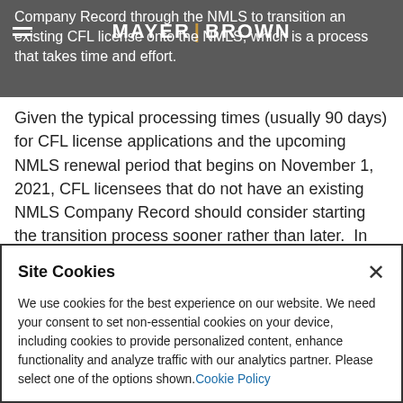Company Record through the NMLS to transition an existing CFL license onto the NMLS, which is a process that takes time and effort.
Given the typical processing times (usually 90 days) for CFL license applications and the upcoming NMLS renewal period that begins on November 1, 2021, CFL licensees that do not have an existing NMLS Company Record should consider starting the transition process sooner rather than later.  In addition, persons planning to apply for a CFL in the near future may want to evaluate options for making application through the
Site Cookies
We use cookies for the best experience on our website. We need your consent to set non-essential cookies on your device, including cookies to provide personalized content, enhance functionality and analyze traffic with our analytics partner. Please select one of the options shown. Cookie Policy